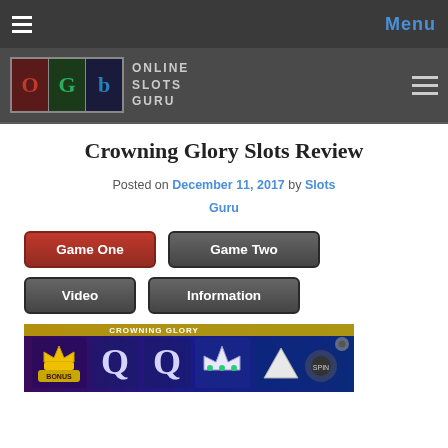Menu
[Figure (logo): Online Slots Guru logo with colored letter boxes and text]
Crowning Glory Slots Review
Posted on December 11, 2017 by Slots Guru
[Figure (screenshot): Four navigation buttons: Game One (red), Game Two (grey), Video (grey), Information (grey)]
[Figure (screenshot): Crowning Glory slot game screenshot showing game reels with crown, Q symbols, bonus symbol on purple/blue background]